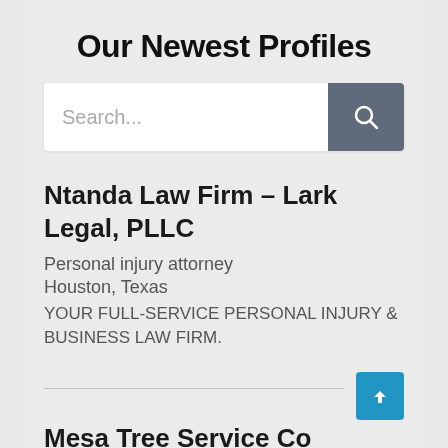Our Newest Profiles
[Figure (screenshot): Search bar with text input placeholder 'Search...' and a dark grey search button with magnifying glass icon]
Ntanda Law Firm – Lark Legal, PLLC
Personal injury attorney
Houston, Texas
YOUR FULL-SERVICE PERSONAL INJURY & BUSINESS LAW FIRM.
Mesa Tree Service Co